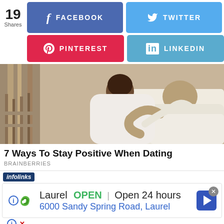19 Shares
FACEBOOK
TWITTER
PINTEREST
LINKEDIN
[Figure (photo): Couple embracing outdoors, woman in white dress with man in white shirt on a porch or outdoor setting]
7 Ways To Stay Positive When Dating
BRAINBERRIES
infolinks
Laurel  OPEN | Open 24 hours
6000 Sandy Spring Road, Laurel